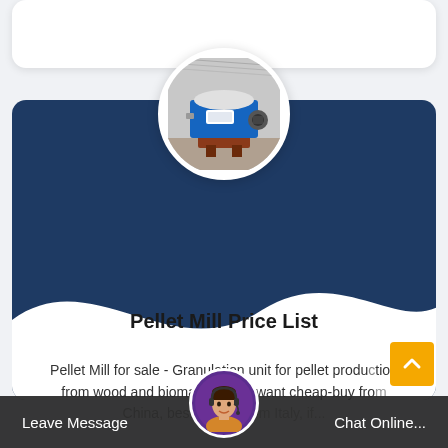[Figure (photo): Partial white card at top of page]
[Figure (photo): Circular image of a pellet mill machine (blue industrial equipment) with a dark blue wave card background]
Pellet Mill Price List
Pellet Mill for sale - Granulation unit for pellet production from wood and biomass. If you want cheap-buy from China, best design from Italy, if...
[Figure (photo): Customer service representative avatar in bottom chat bar]
Leave Message   Chat Online...